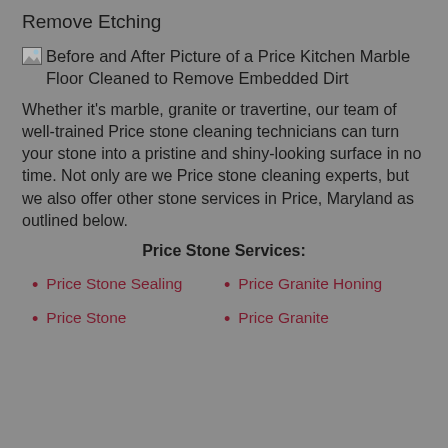Remove Etching
[Figure (photo): Before and After Picture of a Price Kitchen Marble Floor Cleaned to Remove Embedded Dirt]
Whether it's marble, granite or travertine, our team of well-trained Price stone cleaning technicians can turn your stone into a pristine and shiny-looking surface in no time. Not only are we Price stone cleaning experts, but we also offer other stone services in Price, Maryland as outlined below.
Price Stone Services:
Price Stone Sealing
Price Granite Honing
Price Stone
Price Granite